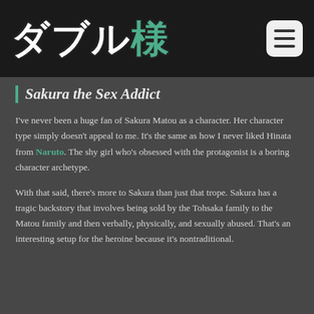ダブル様
Sakura the Sex Addict
I've never been a huge fan of Sakura Matou as a character. Her character type simply doesn't appeal to me. It's the same as how I never liked Hinata from Naruto. The shy girl who's obsessed with the protagonist is a boring character archetype.
With that said, there's more to Sakura than just that trope. Sakura has a tragic backstory that involves being sold by the Tohsaka family to the Matou family and then verbally, physically, and sexually abused. That's an interesting setup for the heroine because it's nontraditional.